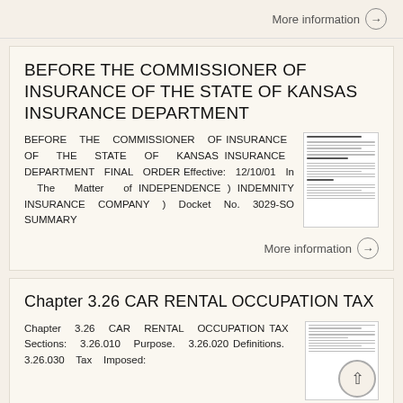More information →
BEFORE THE COMMISSIONER OF INSURANCE OF THE STATE OF KANSAS INSURANCE DEPARTMENT
BEFORE THE COMMISSIONER OF INSURANCE OF THE STATE OF KANSAS INSURANCE DEPARTMENT FINAL ORDER Effective: 12/10/01 In The Matter of INDEPENDENCE ) INDEMNITY INSURANCE COMPANY ) Docket No. 3029-SO SUMMARY
More information →
Chapter 3.26 CAR RENTAL OCCUPATION TAX
Chapter 3.26 CAR RENTAL OCCUPATION TAX Sections: 3.26.010 Purpose. 3.26.020 Definitions. 3.26.030 Tax Imposed: